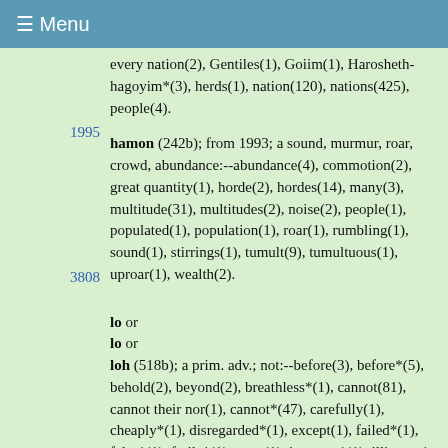≡ Menu
every nation(2), Gentiles(1), Goiim(1), Harosheth-hagoyim*(3), herds(1), nation(120), nations(425), people(4).
1995 hamon (242b); from 1993; a sound, murmur, roar, crowd, abundance:--abundance(4), commotion(2), great quantity(1), horde(2), hordes(14), many(3), multitude(31), multitudes(2), noise(2), people(1), populated(1), population(1), roar(1), rumbling(1), sound(1), stirrings(1), tumult(9), tumultuous(1), uproar(1), wealth(2).
3808 lo or lo or loh (518b); a prim. adv.; not:--before(3), before*(5), behold(2), beyond(2), breathless*(1), cannot(81), cannot their nor(1), cannot*(47), carefully(1), cheaply*(1), disregarded*(1), except(1), failed*(1), false*(1), futile*(1), gone(1), ignorant*(1), illiterate*